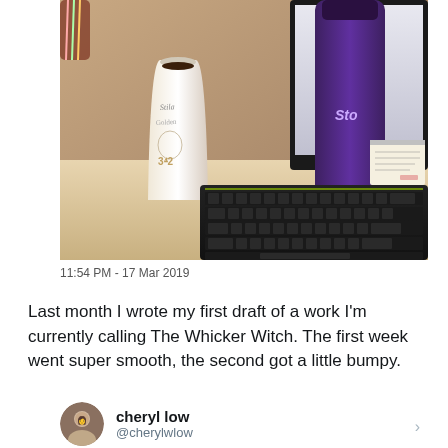[Figure (photo): Photo of a desk with a Starbucks paper cup filled with dark coffee, a purple water bottle, a notepad, and an Acer laptop keyboard visible in the foreground.]
11:54 PM - 17 Mar 2019
Last month I wrote my first draft of a work I'm currently calling The Whicker Witch. The first week went super smooth, the second got a little bumpy.
cheryl low @cherylwlow